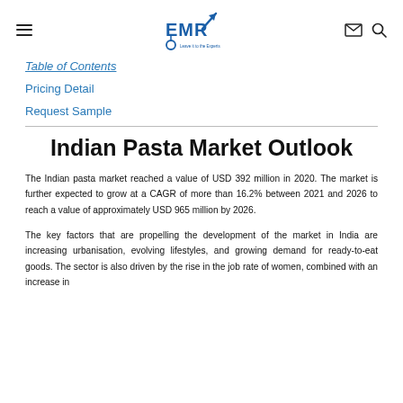EMR — Leave it to the Experts (logo header with hamburger, envelope, search icons)
Table of Contents
Pricing Detail
Request Sample
Indian Pasta Market Outlook
The Indian pasta market reached a value of USD 392 million in 2020. The market is further expected to grow at a CAGR of more than 16.2% between 2021 and 2026 to reach a value of approximately USD 965 million by 2026.
The key factors that are propelling the development of the market in India are increasing urbanisation, evolving lifestyles, and growing demand for ready-to-eat goods. The sector is also driven by the rise in the job rate of women, combined with an increase in